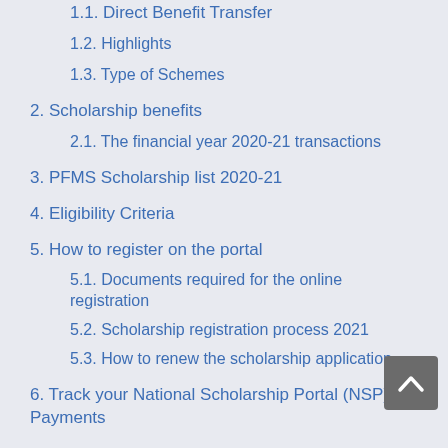1.1. Direct Benefit Transfer
1.2. Highlights
1.3. Type of Schemes
2. Scholarship benefits
2.1. The financial year 2020-21 transactions
3. PFMS Scholarship list 2020-21
4. Eligibility Criteria
5. How to register on the portal
5.1. Documents required for the online registration
5.2. Scholarship registration process 2021
5.3. How to renew the scholarship application
6. Track your National Scholarship Portal (NSP) Payments
7. Know your payments